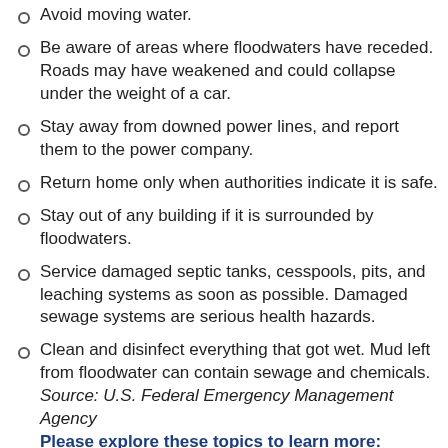Avoid moving water.
Be aware of areas where floodwaters have receded. Roads may have weakened and could collapse under the weight of a car.
Stay away from downed power lines, and report them to the power company.
Return home only when authorities indicate it is safe.
Stay out of any building if it is surrounded by floodwaters.
Service damaged septic tanks, cesspools, pits, and leaching systems as soon as possible. Damaged sewage systems are serious health hazards.
Clean and disinfect everything that got wet. Mud left from floodwater can contain sewage and chemicals. Source: U.S. Federal Emergency Management Agency
Please explore these topics to learn more:
Develop a disaster plan